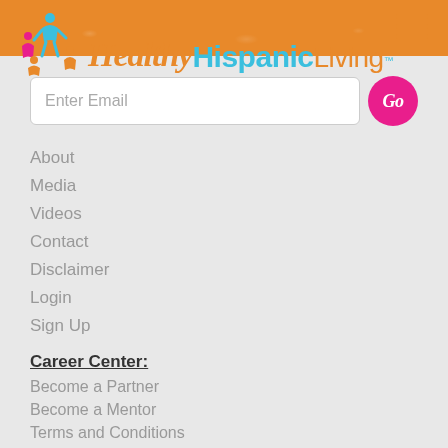[Figure (logo): Healthy Hispanic Living logo with colorful figure icons and stylized text in orange, teal, and pink]
[Figure (other): Hamburger menu icon with three orange horizontal lines]
Enter Email
About
Media
Videos
Contact
Disclaimer
Login
Sign Up
Career Center:
Become a Partner
Become a Mentor
Terms and Conditions